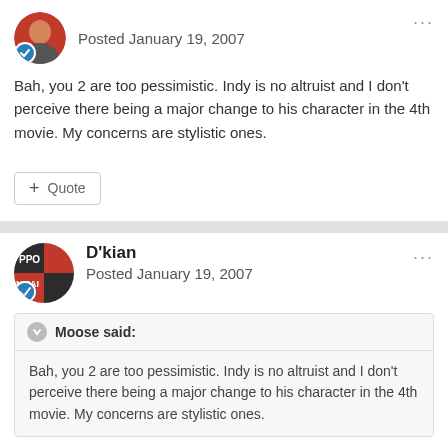Posted January 19, 2007
Bah, you 2 are too pessimistic. Indy is no altruist and I don't perceive there being a major change to his character in the 4th movie. My concerns are stylistic ones.
+ Quote
D'kian
Posted January 19, 2007
Moose said:
Bah, you 2 are too pessimistic. Indy is no altruist and I don't perceive there being a major change to his character in the 4th movie. My concerns are stylistic ones.